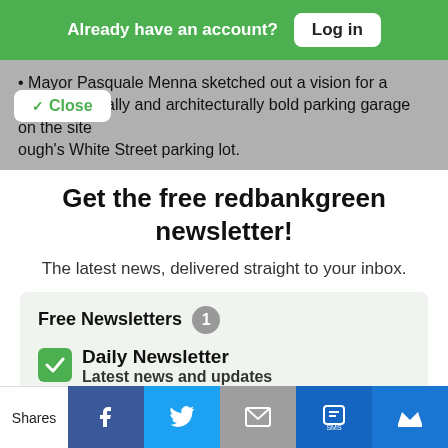Already have an account? Log in
Mayor Pasquale Menna sketched out a vision for a environmentally and architecturally bold parking garage on the site of the borough's White Street parking lot.
Get the free redbankgreen newsletter!
The latest news, delivered straight to your inbox.
Free Newsletters 1
Daily Newsletter
Latest news and updates
Shares